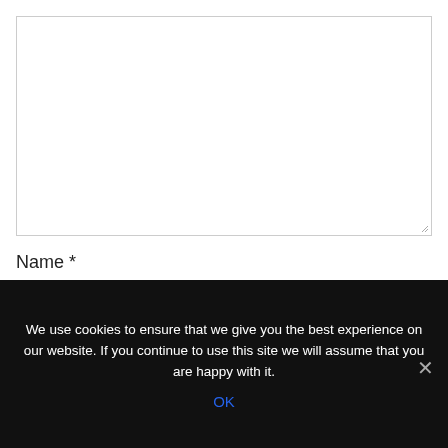[Figure (screenshot): Empty textarea input field with resize handle at bottom-right corner]
Name *
[Figure (screenshot): Empty single-line text input field for Name]
We use cookies to ensure that we give you the best experience on our website. If you continue to use this site we will assume that you are happy with it.
OK